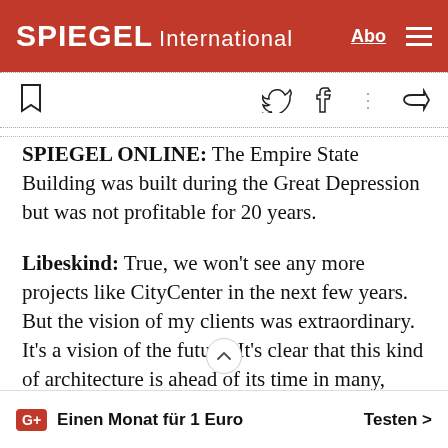SPIEGEL International
SPIEGEL ONLINE: The Empire State Building was built during the Great Depression but was not profitable for 20 years.
Libeskind: True, we won't see any more projects like CityCenter in the next few years. But the vision of my clients was extraordinary. It's a vision of the future. It's clear that this kind of architecture is ahead of its time in many, many ways.
SPIEGEL ONLINE: You n't agree with critics like
G+ Einen Monat für 1 Euro    Testen >